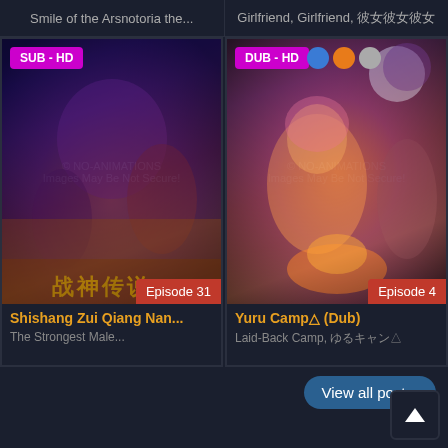Smile of the Arsnotoria the...
Girlfriend, Girlfriend, 彼女彼女彼女
[Figure (screenshot): Anime card for Shishang Zui Qiang Nan... with SUB-HD badge and Episode 31 label]
[Figure (screenshot): Anime card for Yuru Camp△ (Dub) with DUB-HD badge and Episode 4 label]
Shishang Zui Qiang Nan...
The Strongest Male...
Yuru Camp△ (Dub)
Laid-Back Camp, ゆるキャン△
View all post »